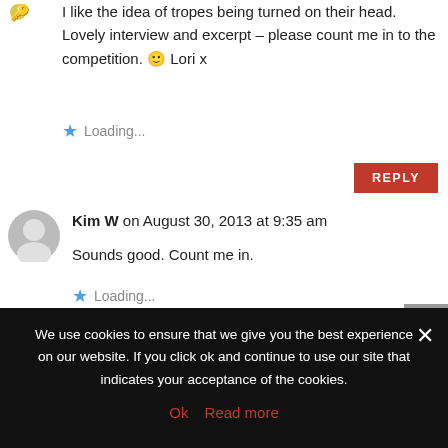I like the idea of tropes being turned on their head. Lovely interview and excerpt – please count me in to the competition. 🙂 Lori x
Loading...
REPLY
Kim W on August 30, 2013 at 9:35 am
Sounds good.  Count me in.
Loading...
REPLY
We use cookies to ensure that we give you the best experience on our website. If you click ok and continue to use our site that indicates your acceptance of the cookies.
Ok   Read more